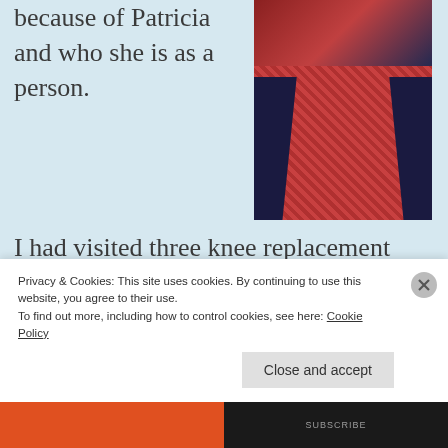because of Patricia and who she is as a person.
[Figure (photo): Photo of a person wearing a dark navy blazer over a red plaid shirt, cropped at the torso.]
I had visited three knee replacement surgeons who generally provided the same advice: not yet. But I was hurting. Today, although I have knee discomfort, I generally can walk
Privacy & Cookies: This site uses cookies. By continuing to use this website, you agree to their use.
To find out more, including how to control cookies, see here: Cookie Policy
Close and accept